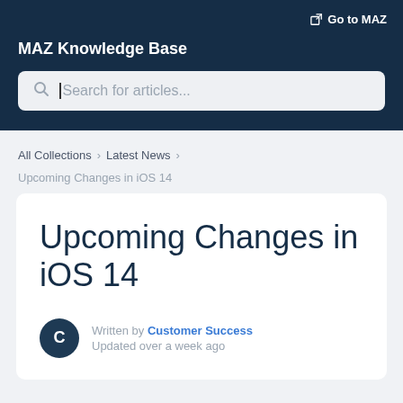Go to MAZ
MAZ Knowledge Base
Search for articles...
All Collections > Latest News >
Upcoming Changes in iOS 14
Upcoming Changes in iOS 14
Written by Customer Success
Updated over a week ago